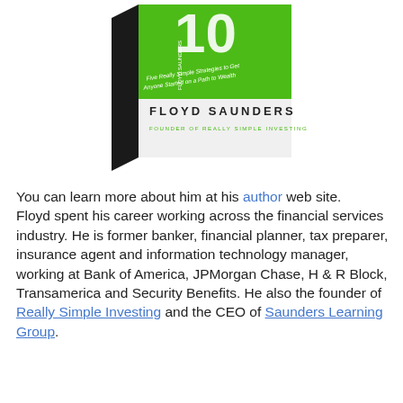[Figure (photo): A book cover showing 'Five Really Simple Strategies to Get Anyone Started on a Path to Wealth' by Floyd Saunders, Founder of Really Simple Investing. The cover is green with white and black text, shown at an angle.]
You can learn more about him at his author web site. Floyd spent his career working across the financial services industry. He is former banker, financial planner, tax preparer, insurance agent and information technology manager, working at Bank of America, JPMorgan Chase, H & R Block, Transamerica and Security Benefits. He also the founder of Really Simple Investing and the CEO of Saunders Learning Group.